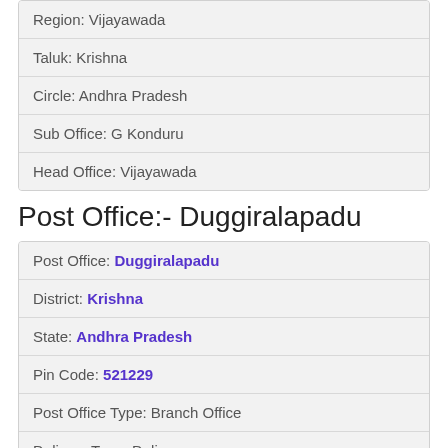| Region: Vijayawada |
| Taluk: Krishna |
| Circle: Andhra Pradesh |
| Sub Office: G Konduru |
| Head Office: Vijayawada |
Post Office:- Duggiralapadu
| Post Office: Duggiralapadu |
| District: Krishna |
| State: Andhra Pradesh |
| Pin Code: 521229 |
| Post Office Type: Branch Office |
| Delivery Type: Delivery |
| Division: Vijayawada |
| Region: Vijayawada |